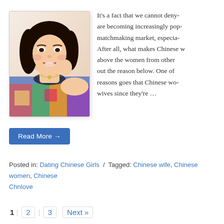[Figure (photo): Photo of a smiling young Asian woman with long dark hair, wearing a colorful dress, posing with hand near face, against light background]
It's a fact that we cannot deny- are becoming increasingly pop- matchmaking market, especia- After all, what makes Chinese w above the women from other out the reason below. One of reasons goes that Chinese wo- wives since they're …
Read More →
Posted in: Dating Chinese Girls / Tagged: Chinese wife, Chinese women, Chinese Chnlove
1 2 3 Next »